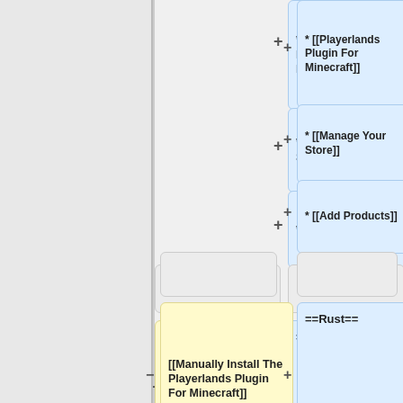[Figure (flowchart): Wiki diff/comparison view showing two columns of content boxes. Left column contains yellow boxes with wiki markup for Minecraft plugin pages. Right column contains blue boxes with wiki markup links and section headers. Minus and plus signs indicate removed and added content. Visible items include: [[Manually Install The Playerlands Plugin For Minecraft]], ==Rust==, [[Manage Your Store]], [[Add Products]], [[Setting up your Minecraft marketplace|Setting up your first store]], [[Link your Rust...]], [[Manage Your Store]]]